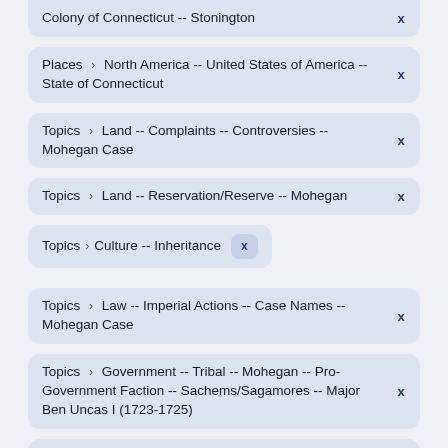Colony of Connecticut -- Stonington
Places > North America -- United States of America -- State of Connecticut
Topics > Land -- Complaints -- Controversies -- Mohegan Case
Topics > Land -- Reservation/Reserve -- Mohegan
Topics > Culture -- Inheritance
Topics > Law -- Imperial Actions -- Case Names -- Mohegan Case
Topics > Government -- Tribal -- Mohegan -- Pro-Government Faction -- Sachems/Sagamores -- Major Ben Uncas I (1723-1725)
Topics > Law -- Customary Indian Law -- Inheritance